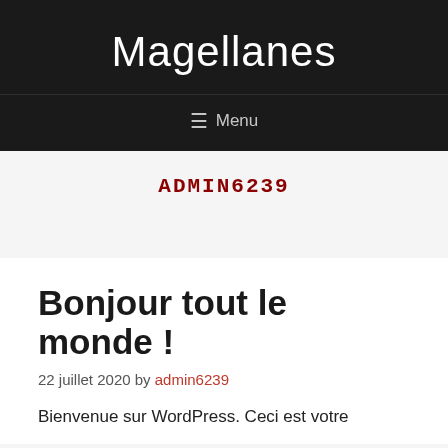Magellanes
≡ Menu
ADMIN6239
Bonjour tout le monde !
22 juillet 2020 by admin6239
Bienvenue sur WordPress. Ceci est votre